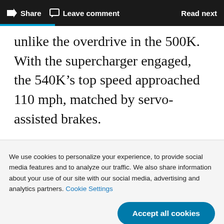Share  Leave comment  Read next
unlike the overdrive in the 500K. With the supercharger engaged, the 540K’s top speed approached 110 mph, matched by servo-assisted brakes.
We use cookies to personalize your experience, to provide social media features and to analyze our traffic. We also share information about your use of our site with our social media, advertising and analytics partners. Cookie Settings
Accept all cookies